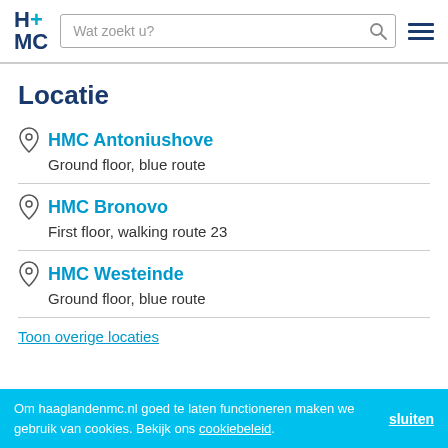H+MC | Wat zoekt u?
Locatie
HMC Antoniushove
Ground floor, blue route
HMC Bronovo
First floor, walking route 23
HMC Westeinde
Ground floor, blue route
Toon overige locaties
Om haaglandenmc.nl goed te laten functioneren maken we gebruik van cookies. Bekijk ons cookiebeleid. sluiten